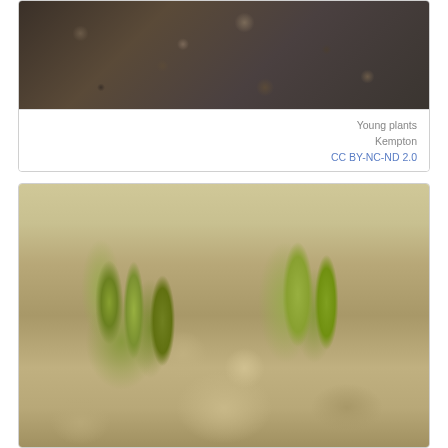[Figure (photo): Close-up photo of dark soil/ground with debris and plant matter, top portion of image]
Young plants
Kempton
CC BY-NC-ND 2.0
[Figure (photo): Close-up photo of young green seedlings/sprouts emerging from sandy gravelly soil]